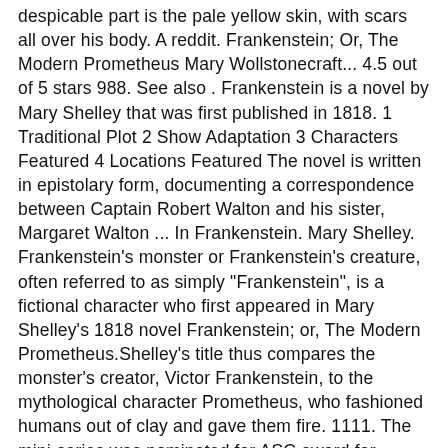despicable part is the pale yellow skin, with scars all over his body. A reddit. Frankenstein; Or, The Modern Prometheus Mary Wollstonecraft... 4.5 out of 5 stars 988. See also . Frankenstein is a novel by Mary Shelley that was first published in 1818. 1 Traditional Plot 2 Show Adaptation 3 Characters Featured 4 Locations Featured The novel is written in epistolary form, documenting a correspondence between Captain Robert Walton and his sister, Margaret Walton ... In Frankenstein. Mary Shelley. Frankenstein's monster or Frankenstein's creature, often referred to as simply "Frankenstein", is a fictional character who first appeared in Mary Shelley's 1818 novel Frankenstein; or, The Modern Prometheus.Shelley's title thus compares the monster's creator, Victor Frankenstein, to the mythological character Prometheus, who fashioned humans out of clay and gave them fire. 1111. The mini-series was nominated for ASC award for Outstanding Achievement in Cinematography in Movies of the Week/Mini-Series/Pilot (Basic or Pay). Hot New Top Rising. Niveau: C 5e Genre: horror Thema: science fiction Getagd op: biologie, Duitsland, fantasy, filosofie, gothic novel, horror, science fiction,